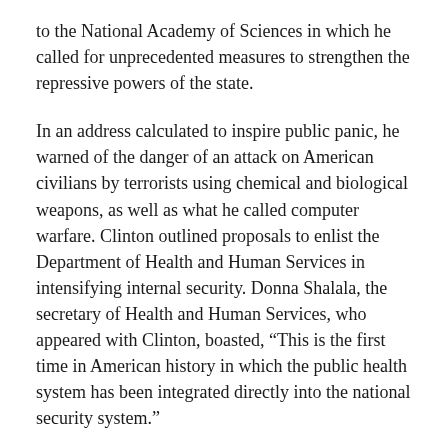to the National Academy of Sciences in which he called for unprecedented measures to strengthen the repressive powers of the state.
In an address calculated to inspire public panic, he warned of the danger of an attack on American civilians by terrorists using chemical and biological weapons, as well as what he called computer warfare. Clinton outlined proposals to enlist the Department of Health and Human Services in intensifying internal security. Donna Shalala, the secretary of Health and Human Services, who appeared with Clinton, boasted, "This is the first time in American history in which the public health system has been integrated directly into the national security system."
Clinton also gave an interview to the New York Times in which he broached the establishment of a new military office — commander in chief for the continental United